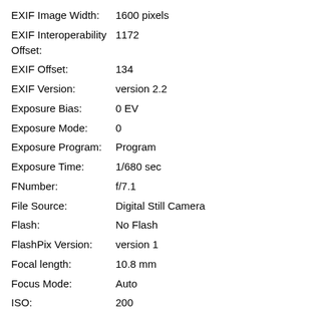| Property | Value |
| --- | --- |
| EXIF Image Width: | 1600 pixels |
| EXIF Interoperability Offset: | 1172 |
| EXIF Offset: | 134 |
| EXIF Version: | version 2.2 |
| Exposure Bias: | 0 EV |
| Exposure Mode: | 0 |
| Exposure Program: | Program |
| Exposure Time: | 1/680 sec |
| FNumber: | f/7.1 |
| File Source: | Digital Still Camera |
| Flash: | No Flash |
| FlashPix Version: | version 1 |
| Focal length: | 10.8 mm |
| Focus Mode: | Auto |
| ISO: | 200 |
| Light Source: | Unknown: 0 |
| Make: | Fujifilm |
| Max Aperture: | f/2.8 |
| Metering Mode: | Pattern |